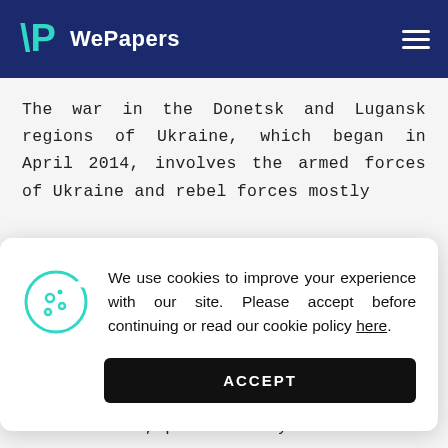WePapers
The war in the Donetsk and Lugansk regions of Ukraine, which began in April 2014, involves the armed forces of Ukraine and rebel forces mostly
[Figure (other): Cookie consent popup with cookie icon, message about using cookies to improve experience, a link to cookie policy, and an ACCEPT button. Message: We use cookies to improve your experience with our site. Please accept before continuing or read our cookie policy here.]
involved. The European Union, NATO, the Council of Europe, the USA, Ukraine and a number of other states blame the Russian Federation in participating in the conflict, particularly in the use